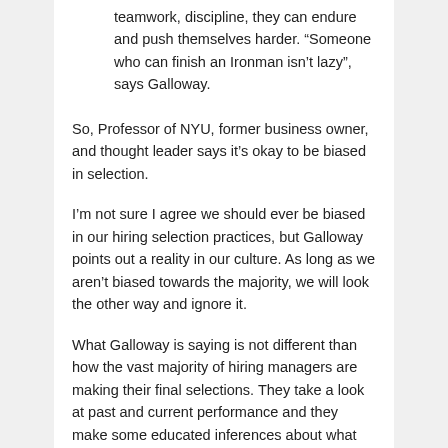teamwork, discipline, they can endure and push themselves harder. “Someone who can finish an Ironman isn’t lazy”, says Galloway.
So, Professor of NYU, former business owner, and thought leader says it’s okay to be biased in selection.
I’m not sure I agree we should ever be biased in our hiring selection practices, but Galloway points out a reality in our culture. As long as we aren’t biased towards the majority, we will look the other way and ignore it.
What Galloway is saying is not different than how the vast majority of hiring managers are making their final selections. They take a look at past and current performance and they make some educated inferences about what those top performers have in common. Based on this knowledge, it will shape their hiring selection. Does this, or could this, lead to bias? Yes.
Does it make it wrong?